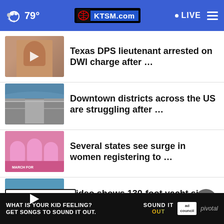79° KTSM.com LIVE
Texas DPS lieutenant arrested on DWI charge after …
Downtown districts across the US are struggling after …
Several states see surge in women registering to …
Video shows 130-foot yacht sink into the sea
More Stories ›
[Figure (screenshot): Ad banner: WHAT IS YOUR KID FEELING? GET SONGS TO SOUND IT OUT. Sound It Out ad council pivotal]